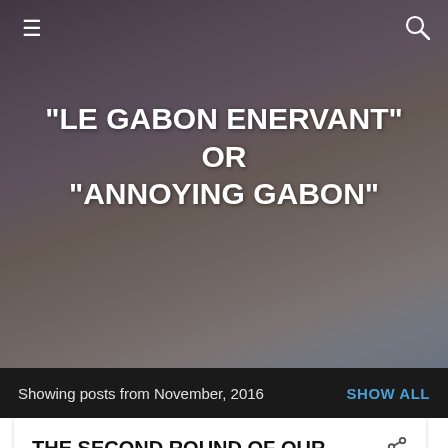[Figure (photo): Blog header background image showing a mountain/seascape landscape with purple-pink-grey tones at dusk, with dark overlay]
"LE GABON ENERVANT" OR "ANNOYING GABON"
Showing posts from November, 2016   SHOW ALL
THE SECOND ROUND OF OUR DIALOGUE WITH GABONREVIEW: CAN AN ELECTION BE SIMPLY MECHANICAL? LE DEUXIÈME ROUND DE NOTRE DIALOGUE AVEC GABONREVIEW : UNE ÉLECTION DOIT ELLE ÊTRE SIMPLEMENT MÉCANIQUE ?
November 30, 2016